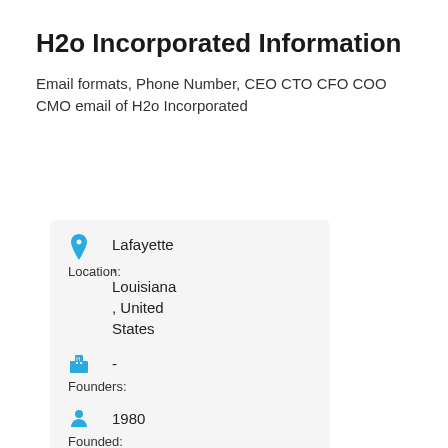H2o Incorporated Information
Email formats, Phone Number, CEO CTO CFO COO CMO email of H2o Incorporated
| Field | Value |
| --- | --- |
| Location: | Lafayette, Louisiana, United States |
| Founders: | - |
| Founded: | 1980 |
| Industry: | Oil & Energy |